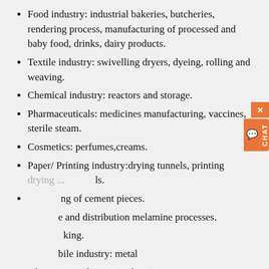Food industry: industrial bakeries, butcheries, rendering process, manufacturing of processed and baby food, drinks, dairy products.
Textile industry: swivelling dryers, dyeing, rolling and weaving.
Chemical industry: reactors and storage.
Pharmaceuticals: medicines manufacturing, vaccines, sterile steam.
Cosmetics: perfumes,creams.
Paper/ Printing industry:drying tunnels, printing [drying...] ...ls.
[...] ng of cement pieces.
[...] e and distribution melamine processes.
[...] king.
[...] oile industry: metal [capacity]
o., Ltd. Sitong Boiler Co., Ltd w[ith] [des]ign and manufacture license p[...] vessels. Henan Province Sitong Boiler Co., Ltd. The company h[as] have many advanced technology of processing,welding,testing...